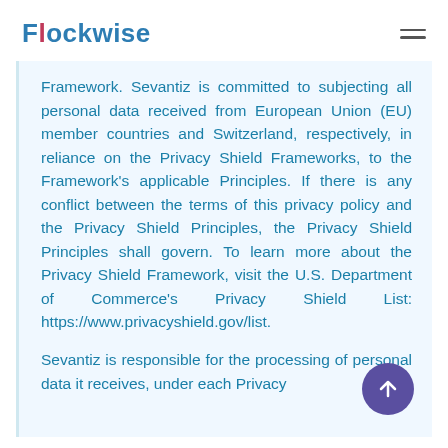Flockwise
Framework. Sevantiz is committed to subjecting all personal data received from European Union (EU) member countries and Switzerland, respectively, in reliance on the Privacy Shield Frameworks, to the Framework's applicable Principles. If there is any conflict between the terms of this privacy policy and the Privacy Shield Principles, the Privacy Shield Principles shall govern. To learn more about the Privacy Shield Framework, visit the U.S. Department of Commerce's Privacy Shield List: https://www.privacyshield.gov/list.

Sevantiz is responsible for the processing of personal data it receives, under each Privacy
[Figure (other): Scroll-to-top button, circular dark purple button with upward arrow icon]